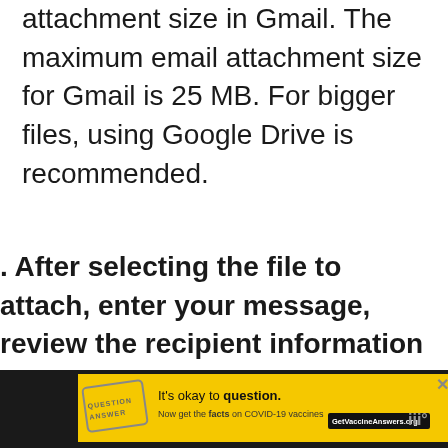doesn't exceed the maximum file attachment size in Gmail. The maximum email attachment size for Gmail is 25 MB. For bigger files, using Google Drive is recommended.
After selecting the file to attach, enter your message, review the recipient information and tap the Send icon to send the email with the attachment.
[Figure (other): Advertisement banner: yellow background with stamp graphic, text 'It's okay to question. Now get the facts on COVID-19 vaccines GetVaccineAnswers.org', close button X, and logo on black background]